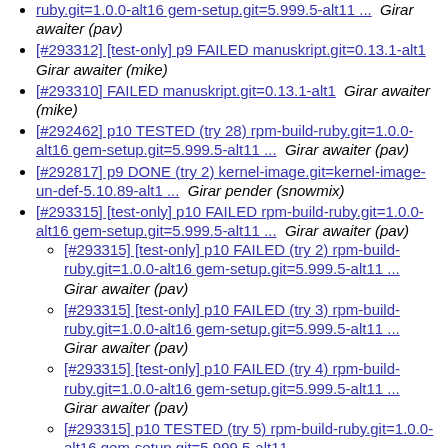[#293312] [test-only] p9 FAILED manuskript.git=0.13.1-alt1  Girar awaiter (mike)
[#293310] FAILED manuskript.git=0.13.1-alt1  Girar awaiter (mike)
[#292462] p10 TESTED (try 28) rpm-build-ruby.git=1.0.0-alt16 gem-setup.git=5.999.5-alt11 ...  Girar awaiter (pav)
[#292817] p9 DONE (try 2) kernel-image.git=kernel-image-un-def-5.10.89-alt1 ...  Girar pender (snowmix)
[#293315] [test-only] p10 FAILED rpm-build-ruby.git=1.0.0-alt16 gem-setup.git=5.999.5-alt11 ...  Girar awaiter (pav)
[#293315] [test-only] p10 FAILED (try 2) rpm-build-ruby.git=1.0.0-alt16 gem-setup.git=5.999.5-alt11 ...  Girar awaiter (pav)
[#293315] [test-only] p10 FAILED (try 3) rpm-build-ruby.git=1.0.0-alt16 gem-setup.git=5.999.5-alt11 ...  Girar awaiter (pav)
[#293315] [test-only] p10 FAILED (try 4) rpm-build-ruby.git=1.0.0-alt16 gem-setup.git=5.999.5-alt11 ...  Girar awaiter (pav)
[#293315] p10 TESTED (try 5) rpm-build-ruby.git=1.0.0-alt16 gem-setup.git=5.999.5-alt11 ...  Girar awaiter (pav)